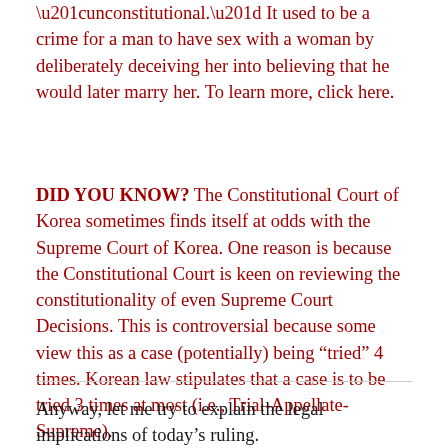“unconstitutional.” It used to be a crime for a man to have sex with a woman by deliberately deceiving her into believing that he would later marry her. To learn more, click here.
DID YOU KNOW? The Constitutional Court of Korea sometimes finds itself at odds with the Supreme Court of Korea. One reason is because the Constitutional Court is keen on reviewing the constitutionality of even Supreme Court Decisions. This is controversial because some view this as a case (potentially) being “tried” 4 times. Korean law stipulates that a case is to be tried 3 times at most (i.e., Trial-Appellate-Supreme).
Anyway, let me try to explain the legal implications of today’s ruling.